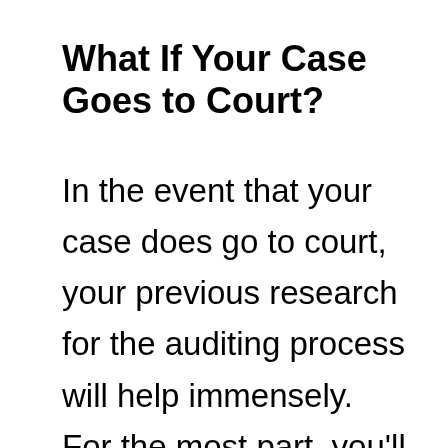What If Your Case Goes to Court?
In the event that your case does go to court, your previous research for the auditing process will help immensely. For the most part, you'll need all of the same types of documentation. The biggest difference is that...